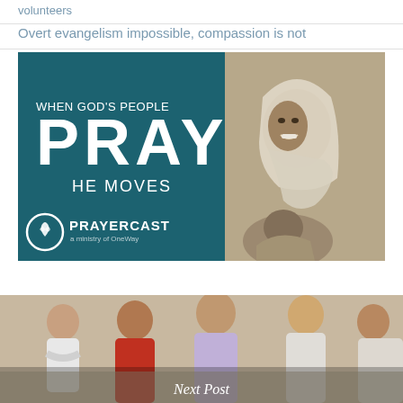volunteers
Overt evangelism impossible, compassion is not
[Figure (photo): Prayercast promotional image with teal background. Left side: text 'WHEN GOD'S PEOPLE PRAY HE MOVES' with Prayercast logo (a ministry of OneWay). Right side: sepia-toned portrait of a smiling young woman wearing a white headscarf with a child in foreground.]
[Figure (photo): Bottom strip photo of a group of people in casual/professional attire, appearing to be in conversation or a meeting. 'Next Post' caption in italic white text overlaid at the bottom.]
Next Post